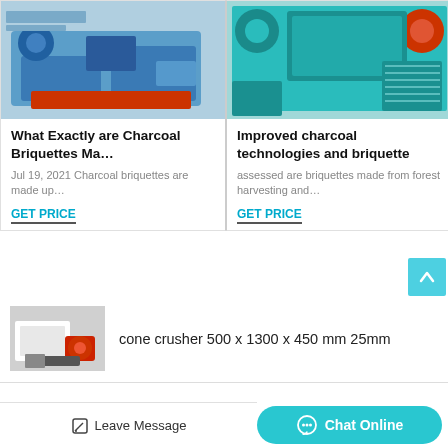[Figure (photo): Blue industrial charcoal briquette machine]
What Exactly are Charcoal Briquettes Ma…
Jul 19, 2021 Charcoal briquettes are made up…
GET PRICE
[Figure (photo): Teal/cyan industrial charcoal briquette machine]
Improved charcoal technologies and briquette
assessed are briquettes made from forest harvesting and…
GET PRICE
[Figure (photo): Cone crusher machine photo]
cone crusher 500 x 1300 x 450 mm 25mm
Leave Message
Chat Online